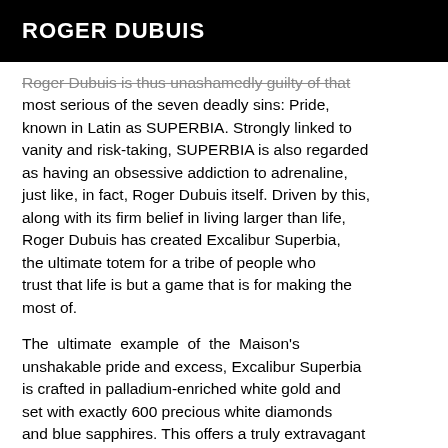ROGER DUBUIS
Roger Dubuis is thus unashamedly guilty of that most serious of the seven deadly sins: Pride, known in Latin as SUPERBIA. Strongly linked to vanity and risk-taking, SUPERBIA is also regarded as having an obsessive addiction to adrenaline, just like, in fact, Roger Dubuis itself. Driven by this, along with its firm belief in living larger than life, Roger Dubuis has created Excalibur Superbia, the ultimate totem for a tribe of people who trust that life is but a game that is for making the most of.
The ultimate example of the Maison's unshakable pride and excess, Excalibur Superbia is crafted in palladium-enriched white gold and set with exactly 600 precious white diamonds and blue sapphires. This offers a truly extravagant (and ideal) housing for Roger Dubuis iconic